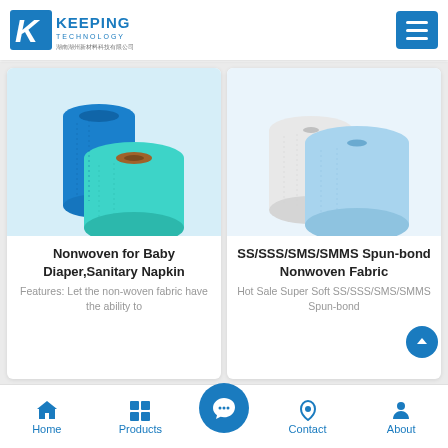[Figure (logo): Keeping Technology company logo with blue K letter and text]
[Figure (photo): Blue and teal nonwoven fabric rolls product photo]
Nonwoven for Baby Diaper,Sanitary Napkin
Features: Let the non-woven fabric have the ability to
[Figure (photo): White and blue SMS/SMMS spunbond nonwoven fabric rolls product photo]
SS/SSS/SMS/SMMS Spun-bond Nonwoven Fabric
Hot Sale Super Soft SS/SSS/SMS/SMMS Spun-bond
Home   Products   Contact   About